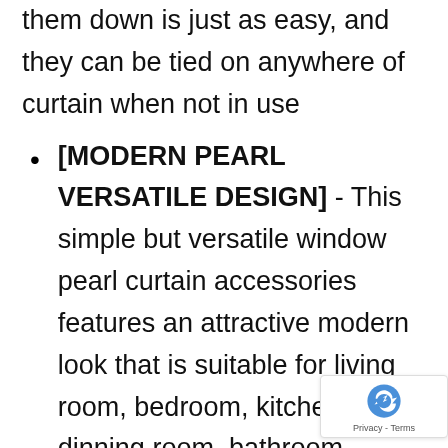them down is just as easy, and they can be tied on anywhere of curtain when not in use
[MODERN PEARL VERSATILE DESIGN] - This simple but versatile window pearl curtain accessories features an attractive modern look that is suitable for living room, bedroom, kitchen, dinning room, bathroom, french door, offices or studios.
[ADJUST LENGTH FREELY] - Total length 18.5 inch, ball's diameter is 1.25 inch, could be twisted to adjust the length to meet your need, so no need to worry about the size is too big, suit for small curtains, thin curtains, sheer